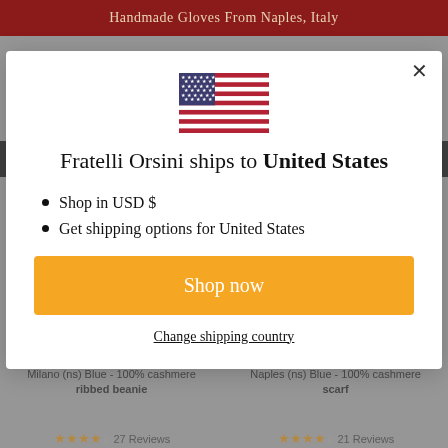Handmade Gloves From Naples, Italy
[Figure (illustration): US flag emoji / SVG illustration inside modal dialog]
Fratelli Orsini ships to United States
Shop in USD $
Get shipping options for United States
Shop now
Change shipping country
Milano (ns) Blue - 100% cashmere ribbed beanie   Naples (ns) Blue - 100% cashmere scarf
27 Reviews   21 Reviews